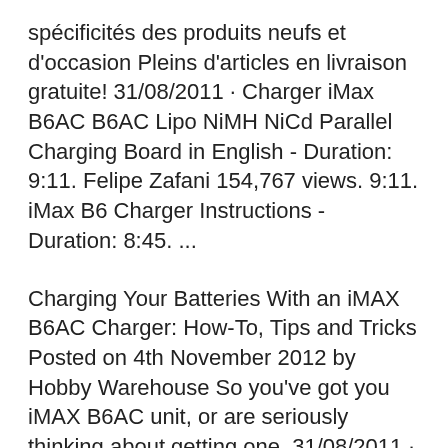spécificités des produits neufs et d'occasion Pleins d'articles en livraison gratuite! 31/08/2011 · Charger iMax B6AC B6AC Lipo NiMH NiCd Parallel Charging Board in English - Duration: 9:11. Felipe Zafani 154,767 views. 9:11. iMax B6 Charger Instructions - Duration: 8:45. ...
Charging Your Batteries With an iMAX B6AC Charger: How-To, Tips and Tricks Posted on 4th November 2012 by Hobby Warehouse So you've got you iMAX B6AC unit, or are seriously thinking about getting one. 31/08/2011 · Charger iMax B6AC B6AC Lipo NiMH NiCd Parallel Charging Board in English - Duration: 9:11. Felipe Zafani